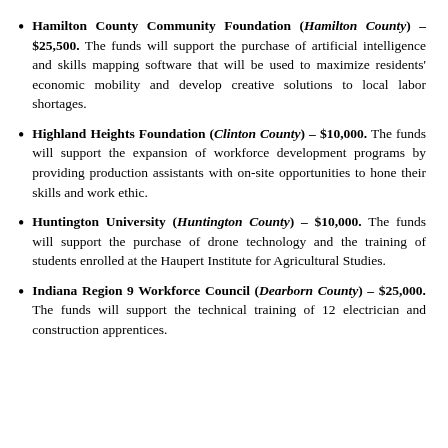Hamilton County Community Foundation (Hamilton County) – $25,500. The funds will support the purchase of artificial intelligence and skills mapping software that will be used to maximize residents' economic mobility and develop creative solutions to local labor shortages.
Highland Heights Foundation (Clinton County) – $10,000. The funds will support the expansion of workforce development programs by providing production assistants with on-site opportunities to hone their skills and work ethic.
Huntington University (Huntington County) – $10,000. The funds will support the purchase of drone technology and the training of students enrolled at the Haupert Institute for Agricultural Studies.
Indiana Region 9 Workforce Council (Dearborn County) – $25,000. The funds will support the technical training of 12 electrician and construction apprentices.